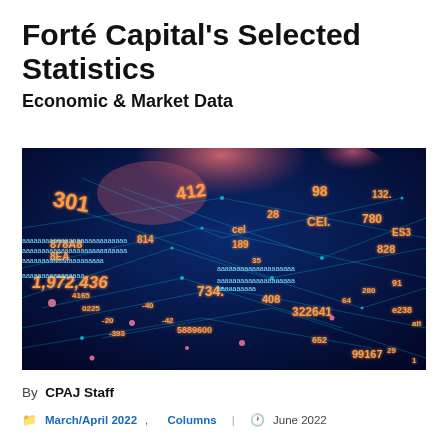Forté Capital's Selected Statistics
Economic & Market Data
[Figure (photo): Abstract digital financial data visualization with glowing numbers and network connections on a blue background with pink/red cloud shapes]
By CPAJ Staff
March/April 2022, Columns | June 2022